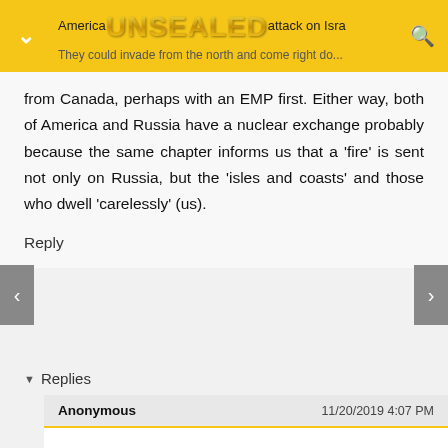America... attack on Isra... They could invade from the north and come right do...
from Canada, perhaps with an EMP first. Either way, both of America and Russia have a nuclear exchange probably because the same chapter informs us that a 'fire' is sent not only on Russia, but the 'isles and coasts' and those who dwell 'carelessly' (us).
Reply
Replies
Anonymous   11/20/2019 4:07 PM
In other words, Russia (Gog) the leader, attacks two countries. With an expanded border bordering Iran, how could Israel really rest in peace?